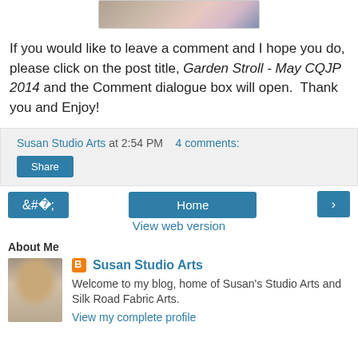[Figure (photo): Partial view of embroidered floral fabric with pink flowers and blue background]
If you would like to leave a comment and I hope you do, please click on the post title, Garden Stroll - May CQJP 2014 and the Comment dialogue box will open.  Thank you and Enjoy!
Susan Studio Arts at 2:54 PM  4 comments:
Share
‹  Home  ›
View web version
About Me
[Figure (photo): Profile photo of Susan Studio Arts - woman with sunglasses]
Susan Studio Arts
Welcome to my blog, home of Susan's Studio Arts and Silk Road Fabric Arts.
View my complete profile